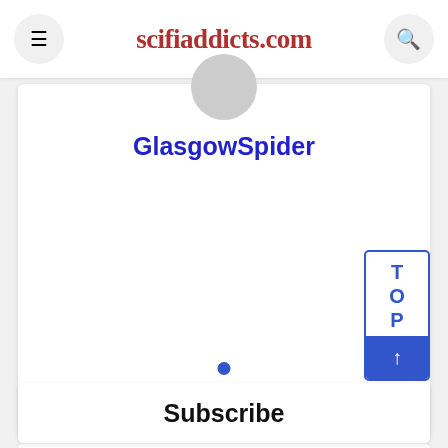scifiaddicts.com
GlasgowSpider
[Figure (other): Blue dot pagination indicator]
[Figure (other): TOP back-to-top widget with blue arrow button]
Subscribe
Enter email address